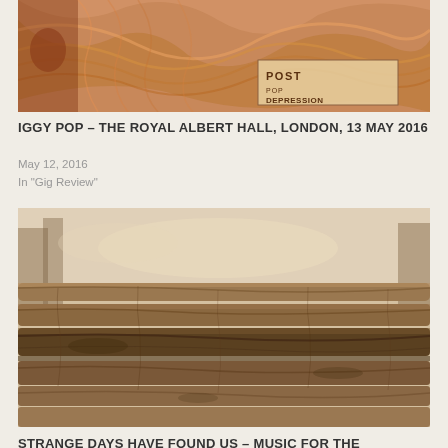[Figure (illustration): Colorful psychedelic illustration with flowing orange/red hair and the words POST POP DEPRESSION visible]
IGGY POP – THE ROYAL ALBERT HALL, LONDON, 13 MAY 2016
May 12, 2016
In "Gig Review"
[Figure (photo): Black and white / sepia photo of stacked logs or driftwood in a natural outdoor setting]
STRANGE DAYS HAVE FOUND US – MUSIC FOR THE LOCKDOWN
March 31, 2020